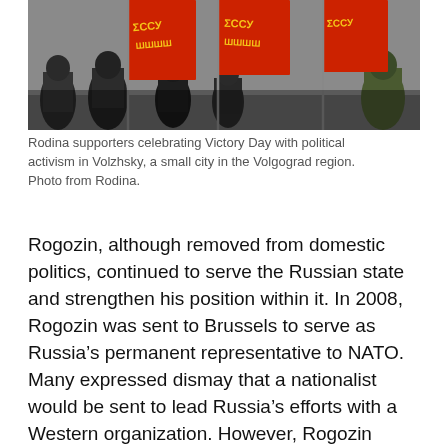[Figure (photo): Photo of Rodina supporters celebrating Victory Day with political activism in Volzhsky, showing people holding large red flags with yellow text, taken in a small city in the Volgograd region.]
Rodina supporters celebrating Victory Day with political activism in Volzhsky, a small city in the Volgograd region. Photo from Rodina.
Rogozin, although removed from domestic politics, continued to serve the Russian state and strengthen his position within it. In 2008, Rogozin was sent to Brussels to serve as Russia’s permanent representative to NATO. Many expressed dismay that a nationalist would be sent to lead Russia’s efforts with a Western organization. However, Rogozin proved himself a capable diplomat. Official statements from NATO, Russia, and the US have described Rogozin’s tenure as one of practical and pragmatic negotiations.